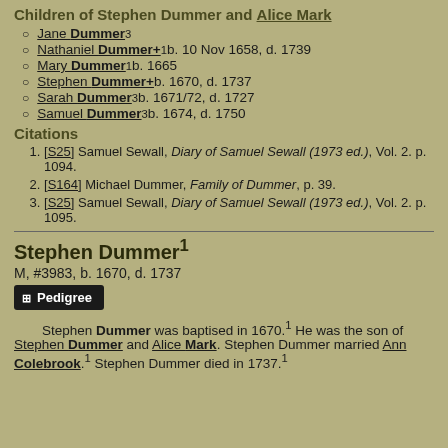Children of Stephen Dummer and Alice Mark
Jane Dummer³
Nathaniel Dummer+¹ b. 10 Nov 1658, d. 1739
Mary Dummer¹ b. 1665
Stephen Dummer+ b. 1670, d. 1737
Sarah Dummer³ b. 1671/72, d. 1727
Samuel Dummer³ b. 1674, d. 1750
Citations
[S25] Samuel Sewall, Diary of Samuel Sewall (1973 ed.), Vol. 2. p. 1094.
[S164] Michael Dummer, Family of Dummer, p. 39.
[S25] Samuel Sewall, Diary of Samuel Sewall (1973 ed.), Vol. 2. p. 1095.
Stephen Dummer¹
M, #3983, b. 1670, d. 1737
Stephen Dummer was baptised in 1670.¹ He was the son of Stephen Dummer and Alice Mark. Stephen Dummer married Ann Colebrook.¹ Stephen Dummer died in 1737.¹